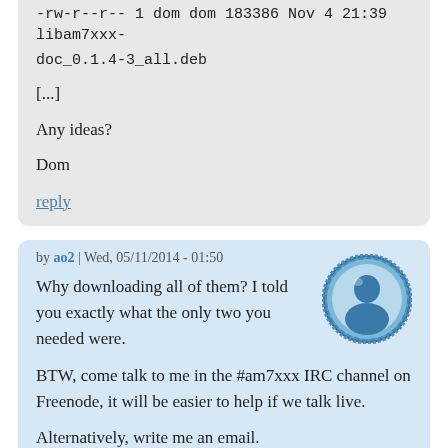-rw-r--r-- 1 dom dom 183386 Nov 4 21:39 libam7xxx-doc_0.1.4-3_all.deb
[...]
Any ideas?
Dom
reply
by ao2 | Wed, 05/11/2014 - 01:50
Why downloading all of them? I told you exactly what the only two you needed were.
BTW, come talk to me in the #am7xxx IRC channel on Freenode, it will be easier to help if we talk live.
Alternatively, write me an email.